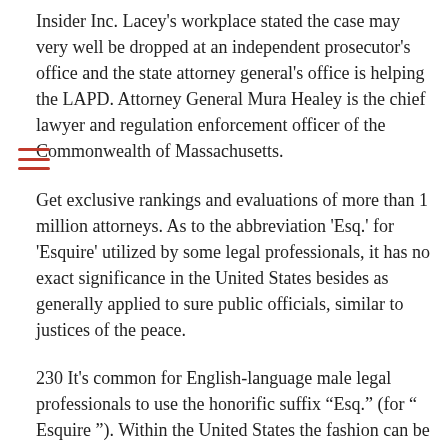Insider Inc. Lacey's workplace stated the case may very well be dropped at an independent prosecutor's office and the state attorney general's office is helping the LAPD. Attorney General Maura Healey is the chief lawyer and regulation enforcement officer of the Commonwealth of Massachusetts.
Get exclusive rankings and evaluations of more than 1 million attorneys. As to the abbreviation 'Esq.' for 'Esquire' utilized by some legal professionals, it has no exact significance in the United States besides as generally applied to sure public officials, similar to justices of the peace.
230 It's common for English-language male legal professionals to use the honorific suffix "Esq." (for " Esquire "). Within the United States the fashion can be used by female attorneys. Networking-by creating contacts with reporters and different media-can be essential to serving to your purchasers go public with press releases and extra.